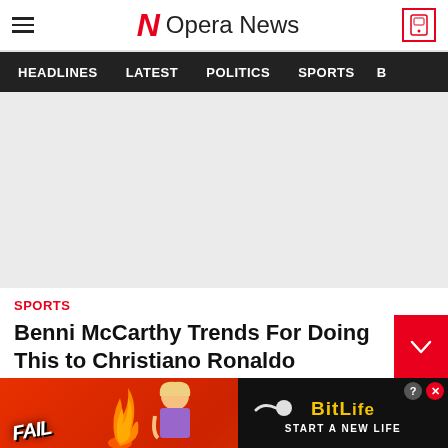Opera News
[Figure (screenshot): Navigation bar with HEADLINES, LATEST, POLITICS, SPORTS menu items on dark background]
[Figure (photo): Large image placeholder (light gray background, content not visible)]
SPORTS
Benni McCarthy Trends For Doing This to Christiano Ronaldo
[Figure (advertisement): BitLife advertisement banner with FAIL text, cartoon character, flames, and START A NEW LIFE text]